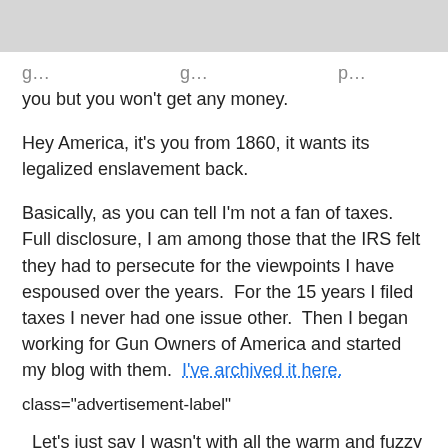g… …g… …p… you but you won't get any money.
Hey America, it's you from 1860, it wants its legalized enslavement back.
Basically, as you can tell I'm not a fan of taxes.  Full disclosure, I am among those that the IRS felt they had to persecute for the viewpoints I have espoused over the years.  For the 15 years I filed taxes I never had one issue other.  Then I began working for Gun Owners of America and started my blog with them.  I've archived it here.
class="advertisement-label"
Let's just say I wasn't with all the warm and fuzzy discussing the current administration.  The result?  The